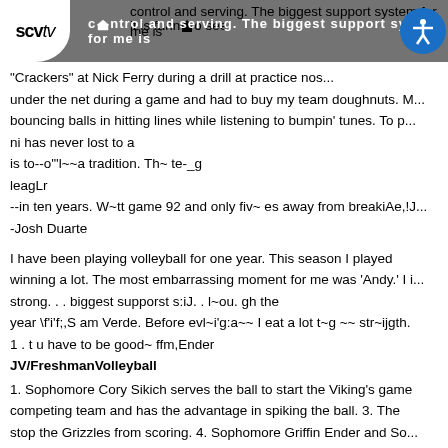scvtv | control and serving. The biggest support system for me is | it is funny to see [home icon] SEARCH at the SUBSCRIBE bad ca... ADVERTIS... | "Crackers" at Nick Ferry during a drill at practice nos... | under the net during a game and had to buy my team doughnuts. M... | bouncing balls in hitting lines while listening to bumpin' tunes. To p... | ni has never lost to a | is to--o'"l~~a tradition. Th~ te-_g | leagLr | --in ten years. W~tt game 92 and only fiv~ es away from breakiAe,!J... | -Josh Duarte
I have been playing volleyball for one year. This season I played winning a lot. The most embarrassing moment for me was 'Andy.' I i strong... biggest supporst s:iJ.. l~ou. gh the year \f'i'f;,S am Verde. Before evl~i'g:a~~ I eat a lot t~g ~~ str~ijgth. 1 . t u have to be good~ ffm,Ender
JV/FreshmanVolleyball
1. Sophomore Cory Sikich serves the ball to start the Viking's game competing team and has the advantage in spiking the ball. 3. The stop the Grizzles from scoring. 4. Sophomore Griffin Ender and So... Sophomore Richie Trunzo serves the ball, earning his team a poi... jumps up to block the shot of his Golden Valley opponent.